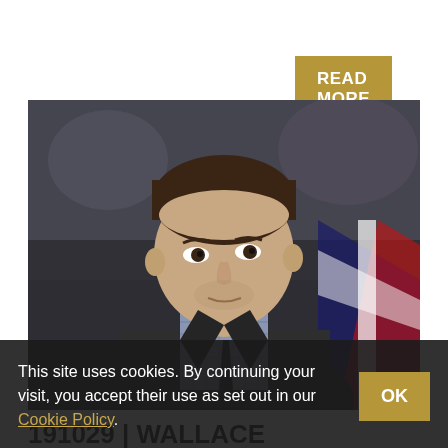READ MORE
[Figure (photo): Man in suit with checkered shirt and tie, looking to the side, with blurred crowd background and a flag visible]
191029 | WALLACE
Tue 29 Oct 2019 1:41PM
This site uses cookies. By continuing your visit, you accept their use as set out in our Cookie Policy.
OK
MOMENTUM IS THE KEY AND TONIGHT PROMISES TO BE EXCITING– COACH WALLACE